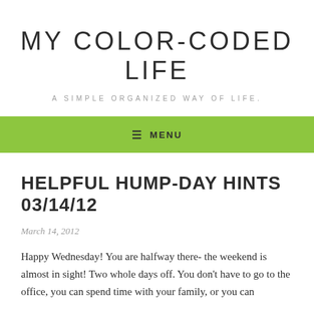MY COLOR-CODED LIFE
A SIMPLE ORGANIZED WAY OF LIFE.
≡ MENU
HELPFUL HUMP-DAY HINTS 03/14/12
March 14, 2012
Happy Wednesday! You are halfway there- the weekend is almost in sight! Two whole days off. You don't have to go to the office, you can spend time with your family, or you can